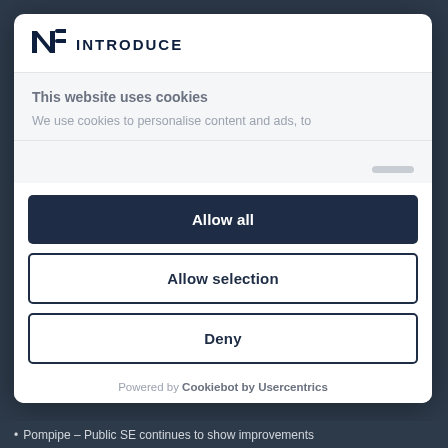[Figure (logo): Introduce company logo with stylized N icon and INTRODUCE text in dark navy]
This website uses cookies
We use cookies to personalise content and ads, to
Allow all
Allow selection
Deny
Powered by Cookiebot by Usercentrics
Pompipe – Public SE continues to show improvements